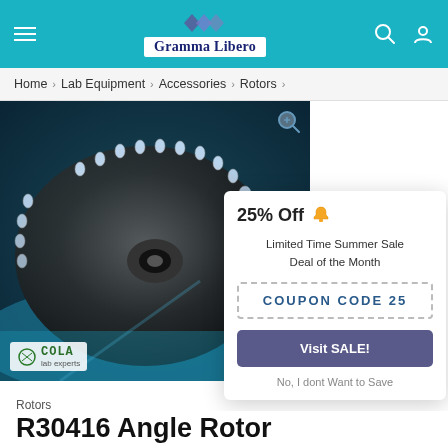Gramma Libero
Home > Lab Equipment > Accessories > Rotors >
[Figure (photo): Close-up photograph of a laboratory centrifuge angle rotor (R30416) showing multiple tube slots arranged in a circular pattern, with cola lab experts logo overlay]
25% Off
Limited Time Summer Sale
Deal of the Month
COUPON CODE 25
Visit SALE!
No, I dont Want to Save
Rotors
R30416 Angle Rotor